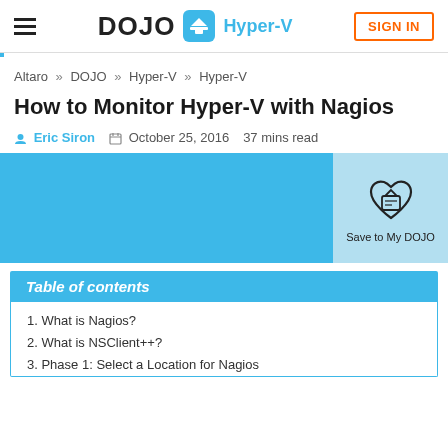DOJO Hyper-V | SIGN IN
Altaro » DOJO » Hyper-V » Hyper-V
How to Monitor Hyper-V with Nagios
Eric Siron   October 25, 2016   37 mins read
[Figure (other): Blue hero banner with Save to My DOJO button overlay]
Table of contents
1. What is Nagios?
2. What is NSClient++?
3. Phase 1: Select a Location for Nagios